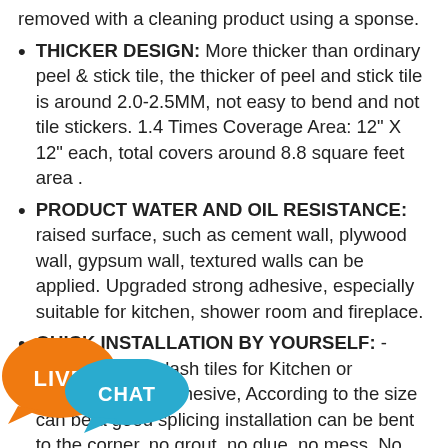removed with a cleaning product using a sponse.
THICKER DESIGN: More thicker than ordinary peel & stick tile, the thicker of peel and stick tile is around 2.0-2.5MM, not easy to bend and not tile stickers. 1.4 Times Coverage Area: 12" X 12" each, total covers around 8.8 square feet area .
PRODUCT WATER AND OIL RESISTANCE: raised surface, such as cement wall, plywood wall, gypsum wall, textured walls can be applied. Upgraded strong adhesive, especially suitable for kitchen, shower room and fireplace.
QUICK INSTALLATION BY YOURSELF: - Stick on backsplash tiles for Kitchen or bathroom, Self-adhesive, According to the size can be a good splicing installation can be bent to the corner, no grout, no glue, no mess, No special skills or extra materials are needed. Saves your time and money.
LONG SERVICE LIFE: 3-D Gel-like tiles use PU material which has the advantages of long life and no aging compared to resin wall stickers.With installation instructions on our packaging.
10 sheets thickened self-adhesive tiles
[Figure (illustration): Live Chat button with orange LIVE speech bubble and blue CHAT speech bubble overlapping]